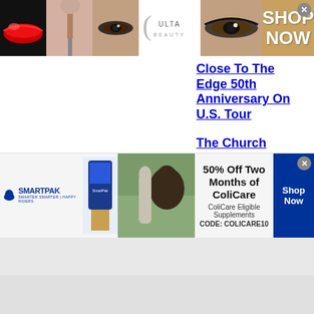[Figure (photo): Ulta Beauty banner advertisement showing makeup images (red lips, makeup brush, smoky eye), Ulta logo, eye close-up, and 'SHOP NOW' button]
Close To The Edge 50th Anniversary On U.S. Tour
The Church Return With New Concept Video and Single 'The
[Figure (photo): SmartPak advertisement: 50% Off Two Months of ColiCare, ColiCare Eligible Supplements, CODE: COLICARE10. Shop Now button. Shows SmartPak logo with horse icon, product image, and woman with horse.]